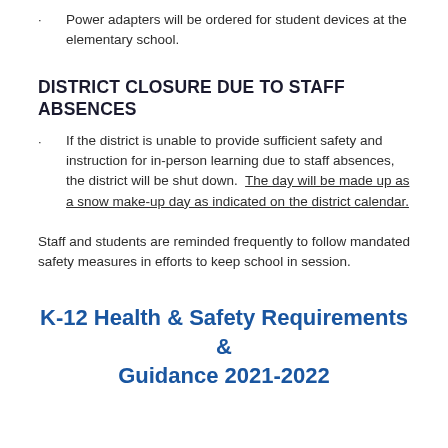Power adapters will be ordered for student devices at the elementary school.
DISTRICT CLOSURE DUE TO STAFF ABSENCES
If the district is unable to provide sufficient safety and instruction for in-person learning due to staff absences, the district will be shut down.  The day will be made up as a snow make-up day as indicated on the district calendar.
Staff and students are reminded frequently to follow mandated safety measures in efforts to keep school in session.
K-12 Health & Safety Requirements & Guidance 2021-2022